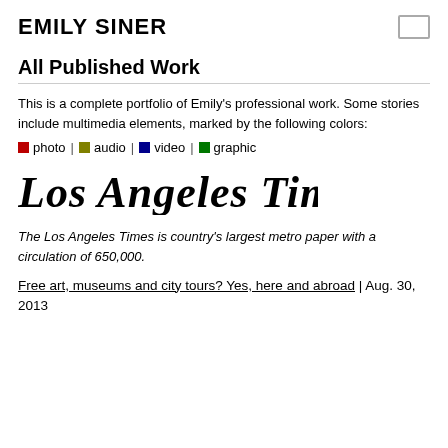EMILY SINER
All Published Work
This is a complete portfolio of Emily's professional work. Some stories include multimedia elements, marked by the following colors:
photo | audio | video | graphic
[Figure (logo): Los Angeles Times masthead logo in blackletter font]
The Los Angeles Times is country's largest metro paper with a circulation of 650,000.
Free art, museums and city tours? Yes, here and abroad | Aug. 30, 2013